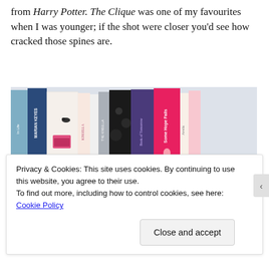from Harry Potter. The Clique was one of my favourites when I was younger; if the shot were closer you'd see how cracked those spines are.
[Figure (photo): A photograph of colourful books arranged on a white shelf. Titles visible include works by Marian Keyes and Sophie Kinsella among others. A watermark reads © SOUTRIK KUMAR.]
Privacy & Cookies: This site uses cookies. By continuing to use this website, you agree to their use.
To find out more, including how to control cookies, see here: Cookie Policy
Close and accept